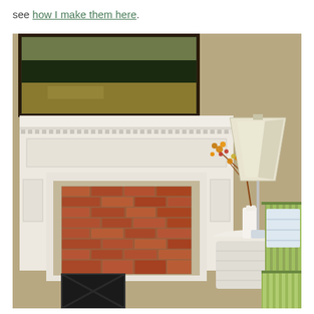see how I make them here.
[Figure (photo): Interior living room scene showing a white fireplace mantle with brick firebox and decorative surround, a landscape painting hanging above, a crystal table lamp with cream shade on a white wicker side table, a white ceramic vase with orange and red autumn branches, and a green striped sofa/chair with pillows in the foreground right.]